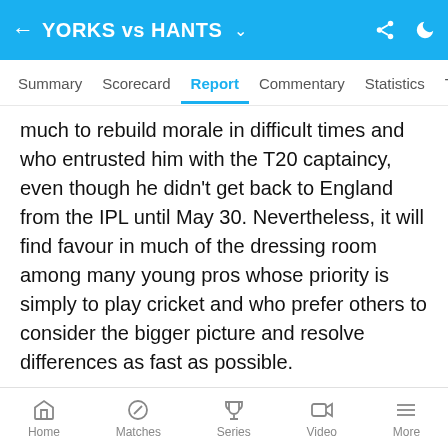YORKS vs HANTS
Summary  Scorecard  Report  Commentary  Statistics  Table
much to rebuild morale in difficult times and who entrusted him with the T20 captaincy, even though he didn't get back to England from the IPL until May 30. Nevertheless, it will find favour in much of the dressing room among many young pros whose priority is simply to play cricket and who prefer others to consider the bigger picture and resolve differences as fast as possible.
Somehow, amid all the noises off, Yorkshire have been mounting a Championship challenge that few expected.
Home  Matches  Series  Video  More